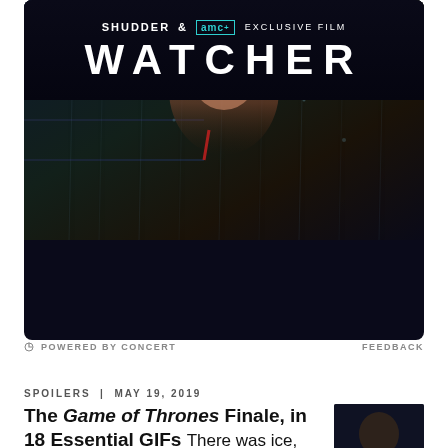[Figure (photo): Advertisement for WATCHER, a Shudder and AMC+ exclusive film. Shows a blonde woman behind rain-streaked glass with dark, moody lighting. Text reads: SHUDDER & AMC+ EXCLUSIVE FILM / WATCHER. Bottom bar: STREAM NOW AMC+ START YOUR FREE TRIAL.]
POWERED BY CONCERT
FEEDBACK
SPOILERS | MAY 19, 2019
The Game of Thrones Finale, in 18 Essential GIFs There was ice, the...